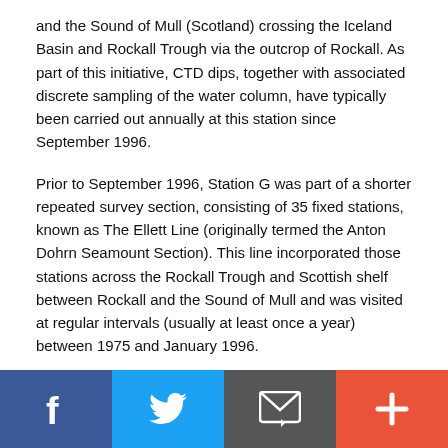and the Sound of Mull (Scotland) crossing the Iceland Basin and Rockall Trough via the outcrop of Rockall. As part of this initiative, CTD dips, together with associated discrete sampling of the water column, have typically been carried out annually at this station since September 1996.
Prior to September 1996, Station G was part of a shorter repeated survey section, consisting of 35 fixed stations, known as The Ellett Line (originally termed the Anton Dohrn Seamount Section). This line incorporated those stations across the Rockall Trough and Scottish shelf between Rockall and the Sound of Mull and was visited at regular intervals (usually at least once a year) between 1975 and January 1996.
Related Fixed Station activities are detailed in Appendix 1
[Figure (other): Social sharing bar with four buttons: Facebook (blue), Twitter (light blue), Email/envelope (dark grey), and Add/Plus (orange-red)]